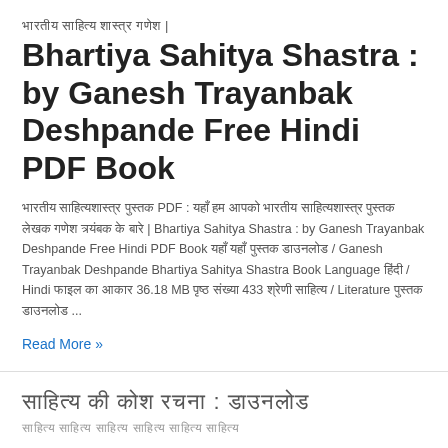भारतीय साहित्य शास्त्र गणेश | Bhartiya Sahitya Shastra : by Ganesh Trayanbak Deshpande Free Hindi PDF Book
भारतीय साहित्यशास्त्र पुस्तक PDF : यहाँ हम आपको भारतीय साहित्यशास्त्र पुस्तक लेखक गणेश के बारे | Bhartiya Sahitya Shastra : by Ganesh Trayanbak Deshpande Free Hindi PDF Book यहाँ यहाँ पुस्तक डाउनलोड / Ganesh Trayanbak Deshpande Bhartiya Sahitya Shastra Book Language हिंदी / Hindi फाइल का आकार 36.18 MB पृष्ठ संख्या 433 श्रेणी साहित्य / Literature पुस्तक डाउनलोड ...
Read More »
साहित्य की कोश रचना : डाउनलोड
साहित्य साहित्य साहित्य साहित्य साहित्य साहित्य